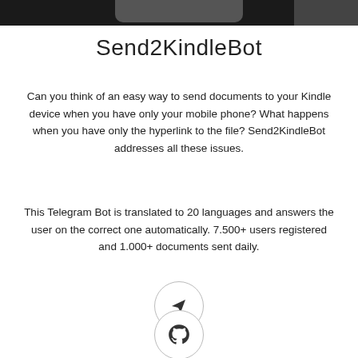Send2KindleBot
Can you think of an easy way to send documents to your Kindle device when you have only your mobile phone? What happens when you have only the hyperlink to the file? Send2KindleBot addresses all these issues.
This Telegram Bot is translated to 20 languages and answers the user on the correct one automatically. 7.500+ users registered and 1.000+ documents sent daily.
[Figure (illustration): Telegram send icon in a circle]
[Figure (logo): GitHub logo icon in a circle]